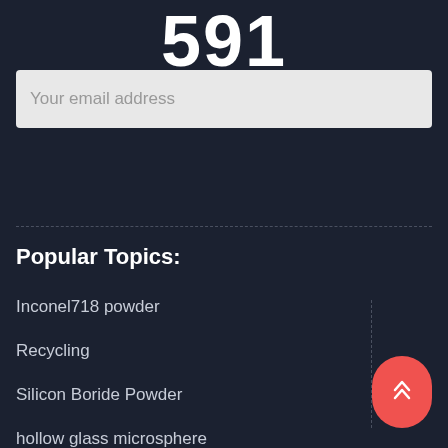591
Your email address
Popular Topics:
Inconel718 powder
Recycling
Silicon Boride Powder
hollow glass microsphere